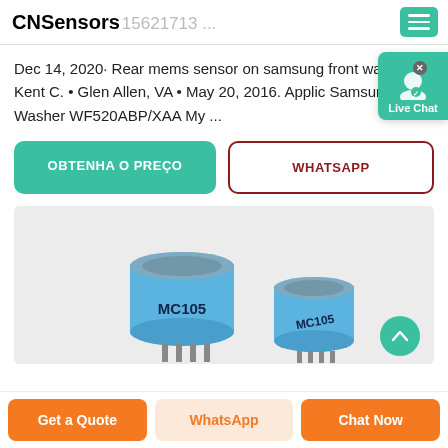CNSensors (15621713 ...)
Dec 14, 2020· Rear mems sensor on samsung front washer Kent C. • Glen Allen, VA • May 20, 2016. Applic Samsung Washer WF520ABP/XAA My ...
[Figure (screenshot): Live Chat badge — teal button with person icon and 'Live Chat' text, closeable with X, floating on right side]
OBTENHA O PREÇO
WHATSAPP
[Figure (photo): Two blue cylindrical MC105 MEMS sensors with metal mesh tops, one larger in left foreground and one smaller behind to the right, on a light grey background]
Get a Quote | WhatsApp | Chat Now